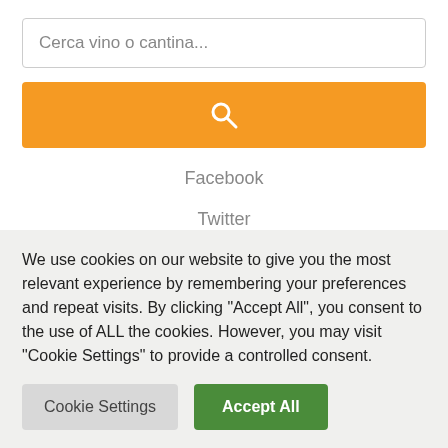Cerca vino o cantina...
[Figure (screenshot): Orange search button with magnifier icon]
Facebook
Twitter
Pinterest
Newsletter
We use cookies on our website to give you the most relevant experience by remembering your preferences and repeat visits. By clicking "Accept All", you consent to the use of ALL the cookies. However, you may visit "Cookie Settings" to provide a controlled consent.
Cookie Settings
Accept All